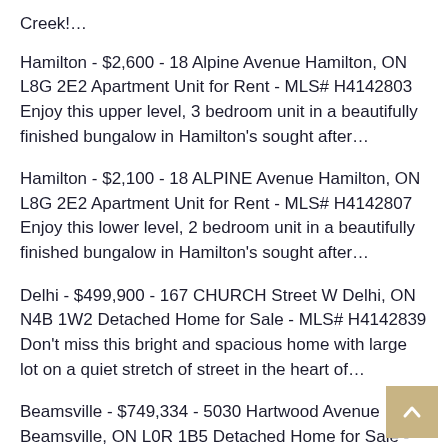Creek!…
Hamilton - $2,600 - 18 Alpine Avenue Hamilton, ON L8G 2E2 Apartment Unit for Rent - MLS# H4142803 Enjoy this upper level, 3 bedroom unit in a beautifully finished bungalow in Hamilton's sought after…
Hamilton - $2,100 - 18 ALPINE Avenue Hamilton, ON L8G 2E2 Apartment Unit for Rent - MLS# H4142807 Enjoy this lower level, 2 bedroom unit in a beautifully finished bungalow in Hamilton's sought after…
Delhi - $499,900 - 167 CHURCH Street W Delhi, ON N4B 1W2 Detached Home for Sale - MLS# H4142839 Don't miss this bright and spacious home with large lot on a quiet stretch of street in the heart of…
Beamsville - $749,334 - 5030 Hartwood Avenue Beamsville, ON L0R 1B5 Detached Home for Sale - MLS# H4142840